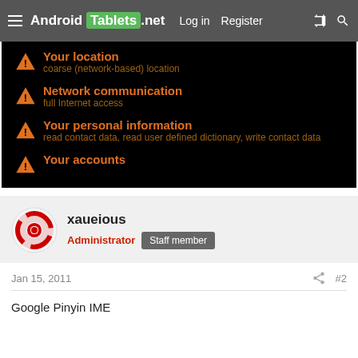Android Tablets .net  Log in  Register
[Figure (screenshot): Android app permissions screen showing warning icons and orange text listing: Your location (coarse (network-based) location), Network communication (full Internet access), Your personal information (read contact data, read user defined dictionary, write contact data), Your accounts]
xaueious
Administrator  Staff member
Jan 15, 2011  #2
Google Pinyin IME